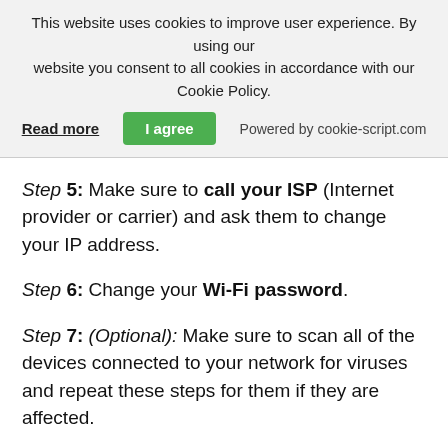This website uses cookies to improve user experience. By using our website you consent to all cookies in accordance with our Cookie Policy. Read more | I agree | Powered by cookie-script.com
online activiites with your card.
Step 5: Make sure to call your ISP (Internet provider or carrier) and ask them to change your IP address.
Step 6: Change your Wi-Fi password.
Step 7: (Optional): Make sure to scan all of the devices connected to your network for viruses and repeat these steps for them if they are affected.
Step 8: Install anti-malware software with real-time protection on every device you have.
Step 9: Try not to download software from sites